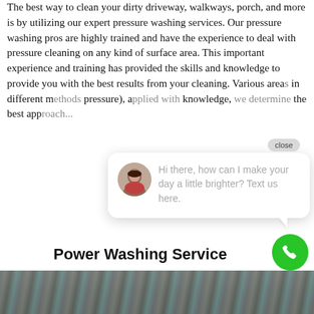The best way to clean your dirty driveway, walkways, porch, and more is by utilizing our expert pressure washing services. Our pressure washing pros are highly trained and have the experience to deal with pressure cleaning on any kind of surface area. This important experience and training has provided the skills and knowledge to provide you with the best results from your cleaning. Various areas in different (pressure), and knowledge, the best app...
[Figure (screenshot): Live chat widget overlay with close button, avatar of a woman, and message: 'Hi there, how can I make your day a little brighter? Text us here.']
Power Washing Service
[Figure (photo): Bottom strip photo showing a surface being pressure washed, dark tones.]